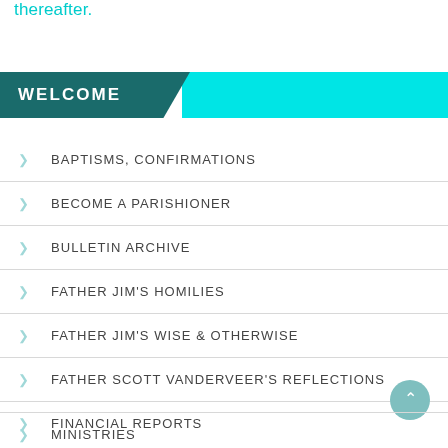thereafter.
WELCOME
BAPTISMS, CONFIRMATIONS
BECOME A PARISHIONER
BULLETIN ARCHIVE
FATHER JIM'S HOMILIES
FATHER JIM'S WISE & OTHERWISE
FATHER SCOTT VANDERVEER'S REFLECTIONS
FINANCIAL REPORTS
MINISTRIES